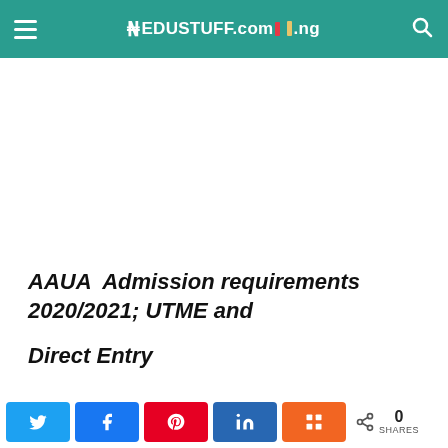EDUSTUFF.com.ng
[Figure (other): Advertisement/blank white area below header]
AAUA Admission requirements 2020/2021; UTME and Direct Entry
Admission requirement is very essential when talking about
Social share bar: Twitter, Facebook, Pinterest, LinkedIn, Mix — 0 SHARES